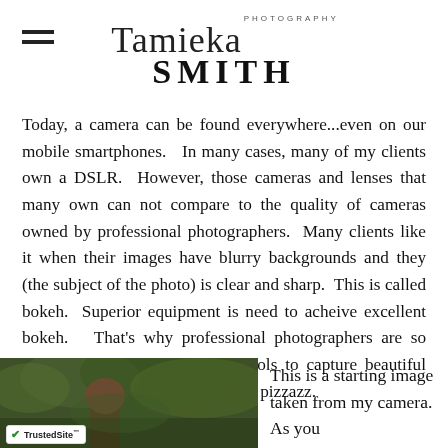Tamieka Photography SMITH
Today, a camera can be found everywhere...even on our mobile smartphones.  In many cases, many of my clients own a DSLR.  However, those cameras and lenses that many own can not compare to the quality of cameras owned by professional photographers.  Many clients like it when their images have blurry backgrounds and they (the subject of the photo) is clear and sharp.  This is called bokeh.  Superior equipment is need to acheive excellent bokeh.  That's why professional photographers are so important.  We're able to use tools to capture beautiful moments and give those moments pizzazz.
[Figure (photo): Outdoor photo showing a person in a green forested area, taken from camera]
This is a starting image taken from my camera.  As you